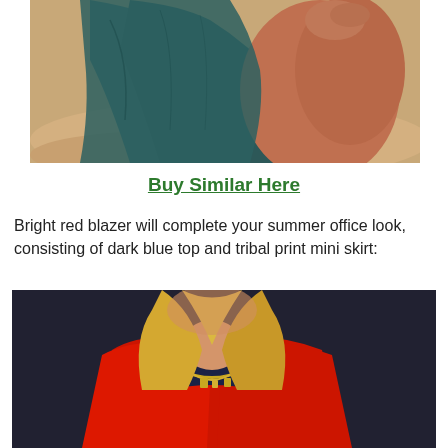[Figure (photo): Close-up photo of a person wearing a dark teal/blue skirt, with sandy ground visible in background]
Buy Similar Here
Bright red blazer will complete your summer office look, consisting of dark blue top and tribal print mini skirt:
[Figure (photo): Photo of a blonde woman wearing a bright red blazer over a dark blue top with a gold necklace]